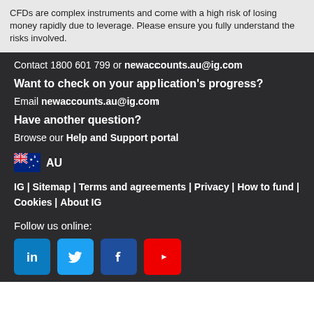CFDs are complex instruments and come with a high risk of losing money rapidly due to leverage. Please ensure you fully understand the risks involved.
Contact 1800 601 799 or newaccounts.au@ig.com
Want to check on your application's progress?
Email newaccounts.au@ig.com
Have another question?
Browse our Help and Support portal
[Figure (illustration): Australian flag icon with AU text label]
IG | Sitemap | Terms and agreements | Privacy | How to fund | Cookies | About IG
Follow us online:
[Figure (illustration): Social media icons: LinkedIn, Twitter, Facebook, YouTube]